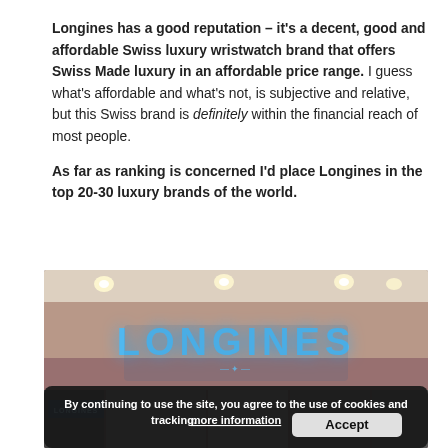Longines has a good reputation – it's a decent, good and affordable Swiss luxury wristwatch brand that offers Swiss Made luxury in an affordable price range. I guess what's affordable and what's not, is subjective and relative, but this Swiss brand is definitely within the financial reach of most people.

As far as ranking is concerned I'd place Longines in the top 20-30 luxury brands of the world.
[Figure (photo): Photo of a Longines retail store with illuminated blue LONGINES sign above the entrance, showing store interior with display cases. A cookie consent bar overlays the bottom of the image.]